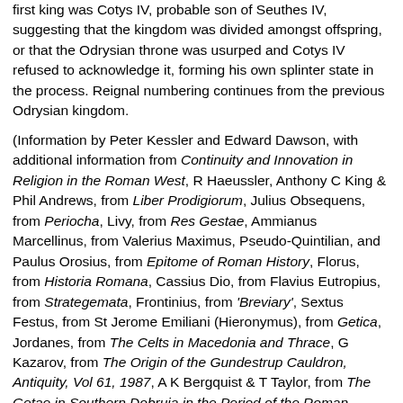first king was Cotys IV, probable son of Seuthes IV, suggesting that the kingdom was divided amongst offspring, or that the Odrysian throne was usurped and Cotys IV refused to acknowledge it, forming his own splinter state in the process. Reignal numbering continues from the previous Odrysian kingdom.
(Information by Peter Kessler and Edward Dawson, with additional information from Continuity and Innovation in Religion in the Roman West, R Haeussler, Anthony C King & Phil Andrews, from Liber Prodigiorum, Julius Obsequens, from Periocha, Livy, from Res Gestae, Ammianus Marcellinus, from Valerius Maximus, Pseudo-Quintilian, and Paulus Orosius, from Epitome of Roman History, Florus, from Historia Romana, Cassius Dio, from Flavius Eutropius, from Strategemata, Frontinius, from 'Breviary', Sextus Festus, from St Jerome Emiliani (Hieronymus), from Getica, Jordanes, from The Celts in Macedonia and Thrace, G Kazarov, from The Origin of the Gundestrup Cauldron, Antiquity, Vol 61, 1987, A K Bergquist & T Taylor, from The Getae in Southern Dobruja in the Period of the Roman Domination: Archaeological Aspects, S Torbatov, and from External Links: Journal of Celtic Studies in Eastern Europe and Asia-Minor, and Scordisci Swords From Northwestern Bulgaria.)